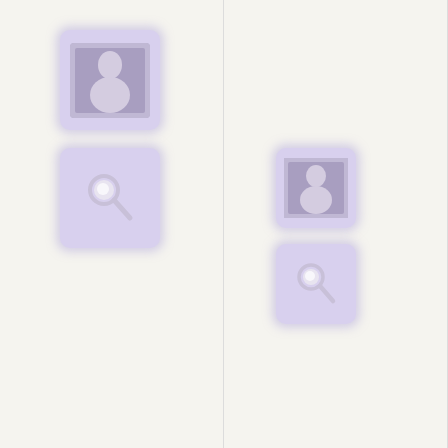[Figure (screenshot): Column layout with purple card thumbnails and search icons, and truncated text links in right column including: couple, fabswingers?, are rea, want t, BBW, daily m, Hotes, wome, earth, mastu, nude t]
fabswingers?
are rea
want t
BBW
daily m
Hotes
wome
earth
mastu
nude t